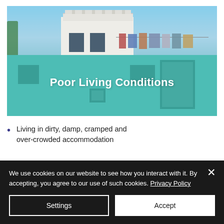[Figure (photo): Photograph of a turquoise/teal painted building with white upper structure and laundry on a clothesline, with the text 'Poor Living Conditions' overlaid on the image.]
Poor Living Conditions
Living in dirty, damp, cramped and over-crowded accommodation
We use cookies on our website to see how you interact with it. By accepting, you agree to our use of such cookies. Privacy Policy